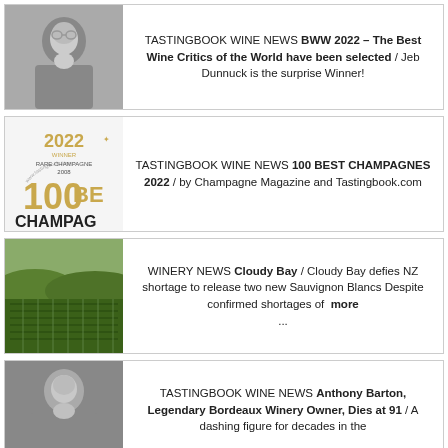[Figure (photo): Black and white photo of a man (wine critic) holding wine glasses]
TASTINGBOOK WINE NEWS BWW 2022 – The Best Wine Critics of the World have been selected / Jeb Dunnuck is the surprise Winner!
[Figure (logo): 100 Best Champagnes 2022 winner logo with gold text and champagne imagery, RARE CHAMPAGNE 2008]
TASTINGBOOK WINE NEWS 100 BEST CHAMPAGNES 2022 / by Champagne Magazine and Tastingbook.com
[Figure (photo): Color photo of a vineyard with green vines]
WINERY NEWS Cloudy Bay / Cloudy Bay defies NZ shortage to release two new Sauvignon Blancs Despite confirmed shortages of more ...
[Figure (photo): Black and white photo of an elderly man (Anthony Barton)]
TASTINGBOOK WINE NEWS Anthony Barton, Legendary Bordeaux Winery Owner, Dies at 91 / A dashing figure for decades in the